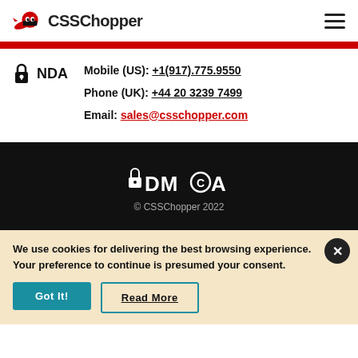[Figure (logo): CSSChopper logo with red ninja mascot and bold CSS Chopper text]
NDA
Mobile (US): +1(917).775.9550
Phone (UK): +44 20 3239 7499
Email: sales@csschopper.com
[Figure (logo): DMCA logo in white on black background with padlock icon]
© CSSChopper 2022
We use cookies for delivering the best browsing experience. Your preference to continue is presumed your consent.
Got It!
Read More